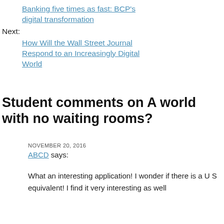Banking five times as fast: BCP's digital transformation
Next:
How Will the Wall Street Journal Respond to an Increasingly Digital World
Student comments on A world with no waiting rooms?
NOVEMBER 20, 2016
ABCD says:
What an interesting application! I wonder if there is a U S equivalent! I find it very interesting as well